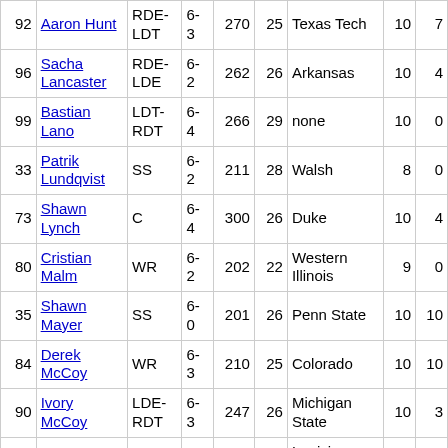| # | Name | Pos | Ht | Wt | Age | College | G | GS |
| --- | --- | --- | --- | --- | --- | --- | --- | --- |
| 92 | Aaron Hunt | RDE-LDT | 6-3 | 270 | 25 | Texas Tech | 10 | 7 |
| 96 | Sacha Lancaster | RDE-LDE | 6-2 | 262 | 26 | Arkansas | 10 | 4 |
| 99 | Bastian Lano | LDT-RDT | 6-4 | 266 | 29 | none | 10 | 0 |
| 33 | Patrik Lundqvist | SS | 6-2 | 211 | 28 | Walsh | 8 | 0 |
| 73 | Shawn Lynch | C | 6-4 | 300 | 26 | Duke | 10 | 4 |
| 80 | Cristian Malm | WR | 6-2 | 202 | 22 | Western Illinois | 9 | 0 |
| 35 | Shawn Mayer | SS | 6-0 | 201 | 26 | Penn State | 10 | 10 |
| 84 | Derek McCoy | WR | 6-3 | 210 | 25 | Colorado | 10 | 10 |
| 90 | Ivory McCoy | LDE-RDT | 6-3 | 247 | 26 | Michigan State | 10 | 3 |
| 87 | Scott McCready | WR | 6-0 | 200 | 28 | Louisiana Tech; South Florida | 6 | 5 |